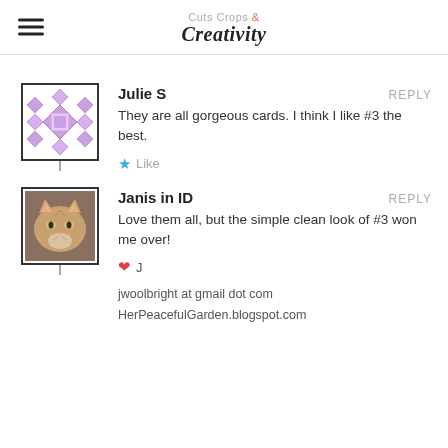Cuts Crops & Creativity
Julie S
REPLY
They are all gorgeous cards. I think I like #3 the best.
★ Like
Janis in ID
REPLY
Love them all, but the simple clean look of #3 won me over!
♥ J
jwoolbright at gmail dot com
HerPeacefulGarden.blogspot.com